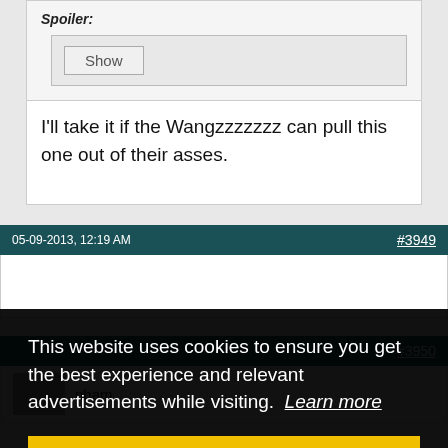Spoiler:
Show
I'll take it if the Wangzzzzzzz can pull this one out of their asses.
05-09-2013, 12:19 AM   #3949
#3950
nham
This website uses cookies to ensure you get the best experience and relevant advertisements while visiting. Learn more
Got it!